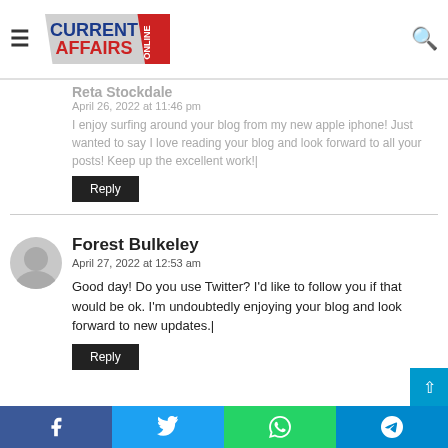[Figure (logo): Current Affairs Online logo with hamburger menu and search icon]
Reta Stockdale
April 26, 2022 at 11:46 pm
I enjoy surfing around your blog from my new apple iphone! Just wanted to say I love reading your blog and look forward to all your posts! Keep up the excellent work!|
Reply
Forest Bulkeley
April 27, 2022 at 12:53 am
Good day! Do you use Twitter? I'd like to follow you if that would be ok. I'm undoubtedly enjoying your blog and look forward to new updates.|
Reply